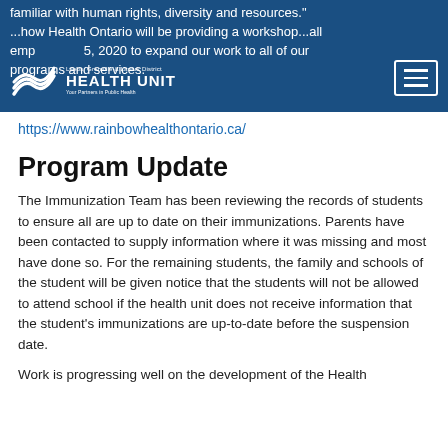familiar with human rights, diversity and resources." ...how Health Ontario will be providing a workshop...employees...5, 2020 to expand our work to all of our programs and services.
https://www.rainbowhealthontario.ca/
Program Update
The Immunization Team has been reviewing the records of students to ensure all are up to date on their immunizations. Parents have been contacted to supply information where it was missing and most have done so. For the remaining students, the family and schools of the student will be given notice that the students will not be allowed to attend school if the health unit does not receive information that the student's immunizations are up-to-date before the suspension date.
Work is progressing well on the development of the Health